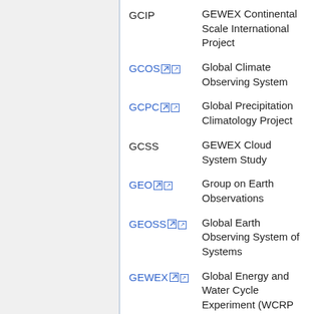GCIP — GEWEX Continental Scale International Project
GCOS — Global Climate Observing System
GCPC — Global Precipitation Climatology Project
GCSS — GEWEX Cloud System Study
GEO — Group on Earth Observations
GEOSS — Global Earth Observing System of Systems
GEWEX — Global Energy and Water Cycle Experiment (WCRP Core Project)
GFCS — Global Framework fo Climate Service
GFS — Global Forecast System